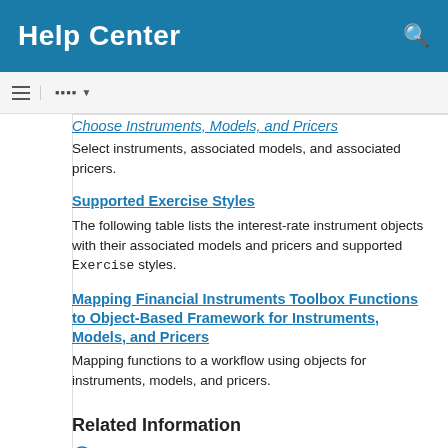Help Center
Choose Instruments, Models, and Pricers
Select instruments, associated models, and associated pricers.
Supported Exercise Styles
The following table lists the interest-rate instrument objects with their associated models and pricers and supported Exercise styles.
Mapping Financial Instruments Toolbox Functions to Object-Based Framework for Instruments, Models, and Pricers
Mapping functions to a workflow using objects for instruments, models, and pricers.
Related Information
Object-Based Framework for Pricing Financial Instruments (2 min 42 sec)
Featured Examples